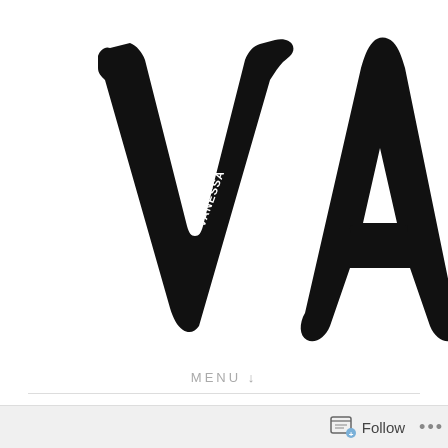[Figure (logo): Hand-drawn brush lettering logo showing 'VA' (large letters) with 'VANESSA' written inside the V and 'ABLE' written inside the A, in black ink on white background]
MENU ↓
CATEGORY: YAHOO!
Follow …